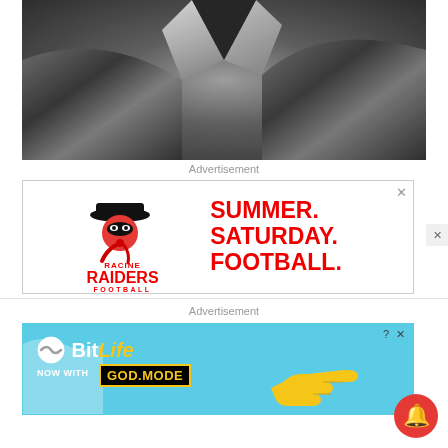[Figure (photo): Black and white close-up photo of a person wearing a dark jacket with a white collar/lapel visible]
Advertisement
[Figure (other): Racine Raiders Football advertisement showing logo and text: SUMMER. SATURDAY. FOOTBALL.]
Advertisement
[Figure (other): BitLife app advertisement: NOW WITH GOD MODE, showing logo and pointing hand graphic on light blue background]